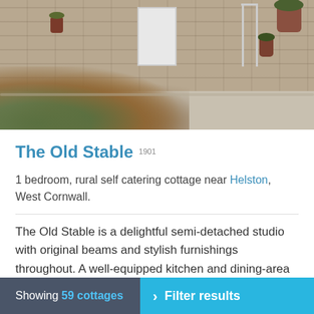[Figure (photo): Exterior photo of a stone cottage called The Old Stable, showing stone walls, a white door, gravel driveway, flower pots, and foreground foliage/plants.]
The Old Stable 1901
1 bedroom, rural self catering cottage near Helston, West Cornwall.
The Old Stable is a delightful semi-detached studio with original beams and stylish furnishings throughout. A well-equipped kitchen and dining-area on the mezzanine is accessed by ...
Sleeps 2 + cot · Repeat no pets · Changeover Fri
Showing 59 cottages   > Filter results